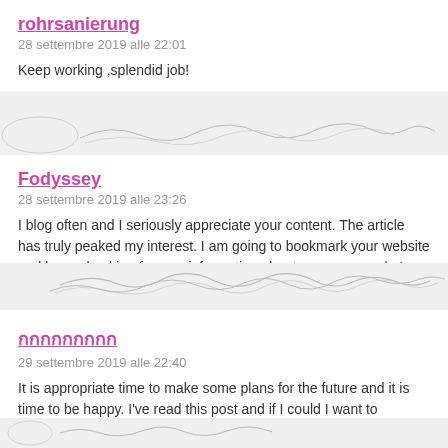rohrsanierung
28 settembre 2019 alle 22:01
Keep working ,splendid job!
Fodyssey
28 settembre 2019 alle 23:26
I blog often and I seriously appreciate your content. The article has truly peaked my interest. I am going to bookmark your website and keep checking for new information about once per week. I opted in for your RSS feed too.
กกกกกกกกก
29 settembre 2019 alle 22:40
It is appropriate time to make some plans for the future and it is time to be happy. I've read this post and if I could I want to suggest you some interesting things or suggestions. Maybe you could write next articles referring to this article more things about it!